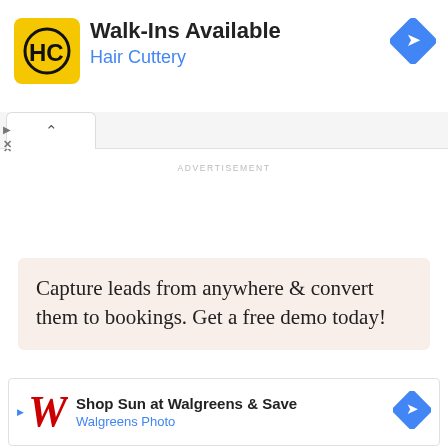[Figure (logo): Hair Cuttery HC logo — yellow square with HC monogram in black circle]
Walk-Ins Available
Hair Cuttery
[Figure (other): Blue navigation/directions diamond icon (turn right arrow)]
ADVERTISEMENT
Capture leads from anywhere & convert them to bookings. Get a free demo today!
[Figure (logo): Walgreens red italic W logo]
Shop Sun at Walgreens & Save
Walgreens Photo
[Figure (other): Blue navigation/directions diamond icon (turn right arrow) for Walgreens ad]